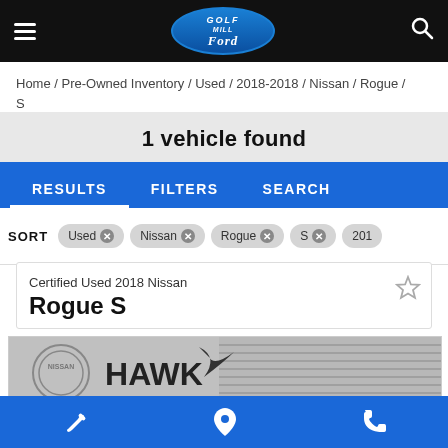Golf Mill Ford – site header with hamburger menu, logo, and search icon
Home / Pre-Owned Inventory / Used / 2018-2018 / Nissan / Rogue / S
1 vehicle found
RESULTS   FILTERS   SEARCH
SORT  Used ×  Nissan ×  Rogue ×  S ×  2018...
Certified Used 2018 Nissan
Rogue S
[Figure (photo): Photo of a Hawk Nissan of St. Charles vehicle – grayscale image showing the Nissan and Hawk Nissan of St. Charles logo on a vehicle]
Bottom navigation bar with wrench, location pin, and phone icons